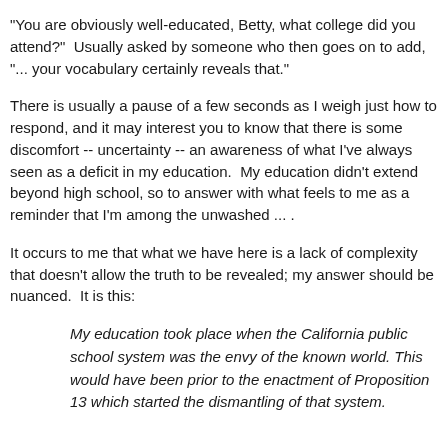"You are obviously well-educated, Betty, what college did you attend?"  Usually asked by someone who then goes on to add, "... your vocabulary certainly reveals that."
There is usually a pause of a few seconds as I weigh just how to respond, and it may interest you to know that there is some discomfort -- uncertainty -- an awareness of what I've always seen as a deficit in my education.  My education didn't extend beyond high school, so to answer with what feels to me as a reminder that I'm among the unwashed ... .
It occurs to me that what we have here is a lack of complexity that doesn't allow the truth to be revealed; my answer should be nuanced.  It is this:
My education took place when the California public school system was the envy of the known world. This would have been prior to the enactment of Proposition 13 which started the dismantling of that system.